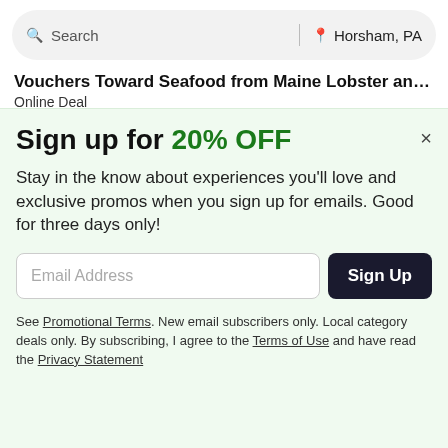Search | Horsham, PA
Vouchers Toward Seafood from Maine Lobster and ...
Online Deal
4.1 ★★★★☆ 4,350 Ratings
$25.00 $5.00 80% OFF
Sign up for 20% OFF
Stay in the know about experiences you'll love and exclusive promos when you sign up for emails. Good for three days only!
Email Address
Sign Up
See Promotional Terms. New email subscribers only. Local category deals only. By subscribing, I agree to the Terms of Use and have read the Privacy Statement